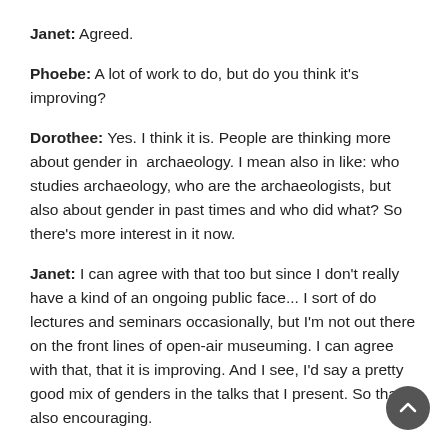Janet: Agreed.
Phoebe: A lot of work to do, but do you think it's improving?
Dorothee: Yes. I think it is. People are thinking more about gender in  archaeology. I mean also in like: who studies archaeology, who are the archaeologists, but also about gender in past times and who did what? So there's more interest in it now.
Janet: I can agree with that too but since I don't really have a kind of an ongoing public face... I sort of do lectures and seminars occasionally, but I'm not out there on the front lines of open-air museuming. I can agree with that, that it is improving. And I see, I'd say a pretty good mix of genders in the talks that I present. So that's also encouraging.
Phoebe: That is really encouraging. I'm glad to hear. And so you've both in the last couple of sentences touched on public outreach and you both do different types of public outreach. What kind of advantages can we take from digital versus in-person and then open-air reenactment type things? What kind of advantages, disadvantages or differences do we see